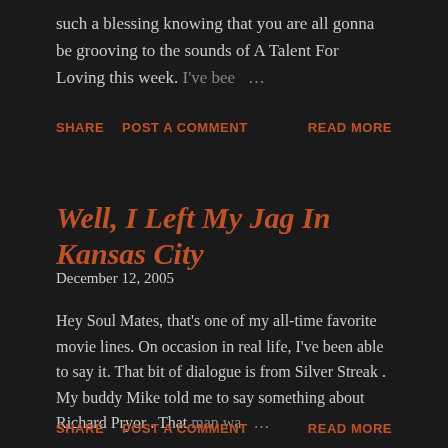such a blessing knowing that you are all gonna be grooving to the sounds of A Talent For Loving this week. I've bee …
SHARE   POST A COMMENT   READ MORE
Well, I Left My Jag In Kansas City
December 12, 2005
Hey Soul Mates, that's one of my all-time favorite movie lines. On occasion in real life, I've been able to say it. That bit of dialogue is from Silver Streak . My buddy Mike told me to say something about Richard Pryor . That man wa …
SHARE   POST A COMMENT   READ MORE